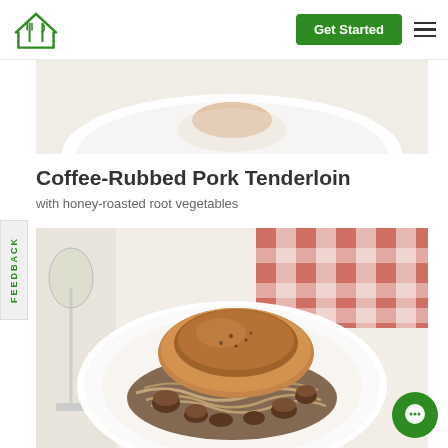Navigation bar with logo, Get Started button, and hamburger menu
[Figure (photo): Partial view of a white plate with food, cropped, on a light surface]
Coffee-Rubbed Pork Tenderloin
with honey-roasted root vegetables
[Figure (photo): Plated coffee-rubbed pork tenderloin served over pasta with mushrooms in a dark sauce on a white plate, with a wine glass and red checkered napkin in background]